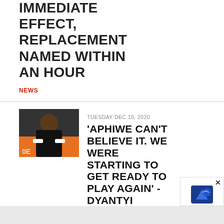IMMEDIATE EFFECT, REPLACEMENT NAMED WITHIN AN HOUR
NEWS
TUESDAY DEC 15, 2020
[Figure (photo): Rugby player in dark jersey running with ball on orange background]
'APHIWE CAN'T BELIEVE IT. WE WERE STARTING TO GET READY TO PLAY AGAIN' - DYANTYI